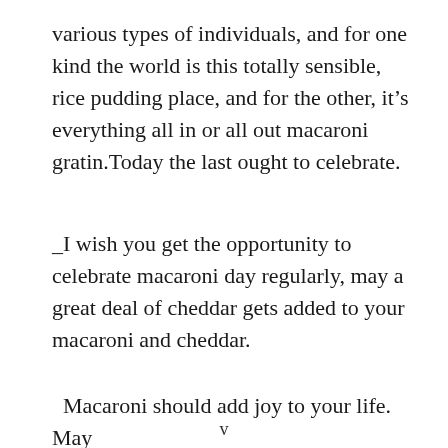various types of individuals, and for one kind the world is this totally sensible, rice pudding place, and for the other, it’s everything all in or all out macaroni gratin.Today the last ought to celebrate.
_I wish you get the opportunity to celebrate macaroni day regularly, may a great deal of cheddar gets added to your macaroni and cheddar.
Macaroni should add joy to your life. May
v